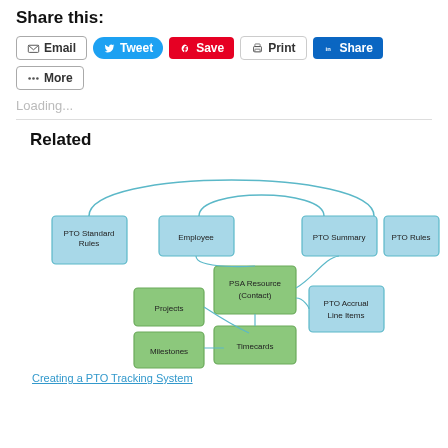Share this:
Email  Tweet  Save  Print  Share  More
Loading...
Related
[Figure (flowchart): Entity relationship/flowchart diagram showing PTO tracking system entities: PTO Standard Rules, Employee, PSA Resource (Contact), PTO Summary, PTO Rules (in blue), and Projects, Timecards, Milestones, PTO Accrual Line Items (in green), connected by curved arrows.]
Creating a PTO Tracking System